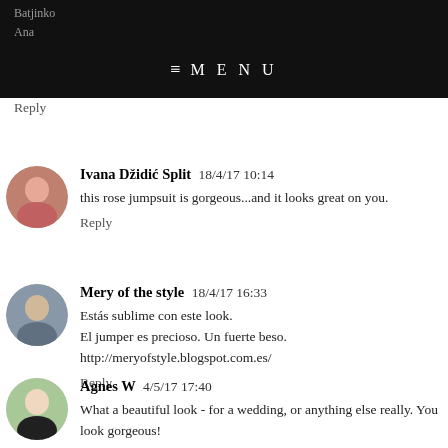Batjinko
Ana
≡ MENU
Reply
Ivana Džidić Split  18/4/17 10:14
this rose jumpsuit is gorgeous...and it looks great on you.
Reply
Mery of the style  18/4/17 16:33
Estás sublime con este look.
El jumper es precioso. Un fuerte beso.
http://meryofstyle.blogspot.com.es/
Reply
Agnes W  4/5/17 17:40
What a beautiful look - for a wedding, or anything else really. You look gorgeous!